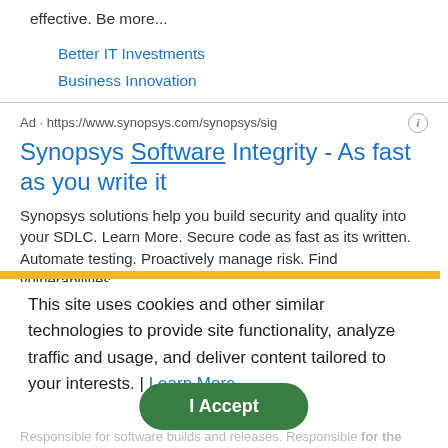effective. Be more...
Better IT Investments
Business Innovation
Ad · https://www.synopsys.com/synopsys/sig
Synopsys Software Integrity - As fast as you write it
Synopsys solutions help you build security and quality into your SDLC. Learn More. Secure code as fast as its written. Automate testing. Proactively manage risk. Find vulnerabilities.
Gartner MQ 2022
Cracking the DevOps Code
This site uses cookies and other similar technologies to provide site functionality, analyze traffic and usage, and deliver content tailored to your interests. | Learn More
Alternate Job Titles: Release Engineer II | Deployment Engineer Entry | Software Release Engineer Entry
Responsible for software builds and releases. Responsible for the